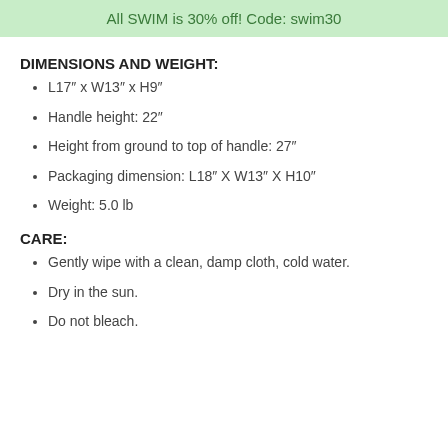All SWIM is 30% off! Code: swim30
DIMENSIONS AND WEIGHT:
L17" x W13" x H9"
Handle height: 22"
Height from ground to top of handle: 27"
Packaging dimension: L18" X W13" X H10"
Weight: 5.0 lb
CARE:
Gently wipe with a clean, damp cloth, cold water.
Dry in the sun.
Do not bleach.